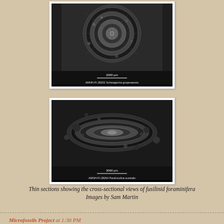[Figure (photo): Microscopy thin section showing cross-sectional view of fusilinid foraminifera (top specimen). Black background with white scale bar labeled '2000 µm'. Caption: AMNH-FI-28252  Schwagerina gruperaensis]
[Figure (photo): Microscopy thin section showing cross-sectional view of fusilinid foraminifera (bottom specimen, elongated oval shape). Black background with white scale bar labeled '3000 µm'. Caption: AMNH-FI-28264  Parafusulina australis]
Thin sections showing the cross-sectional views of fusilinid foraminifera
Images by Sam Martin
Microfossils Project at 1:36 PM